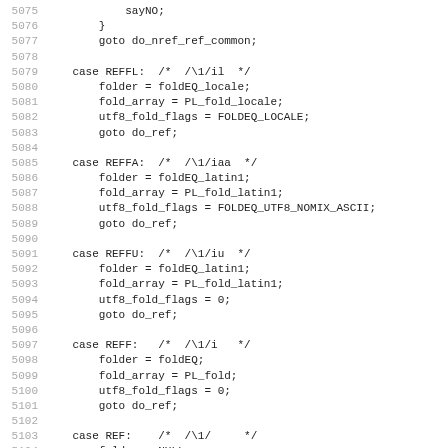[Figure (screenshot): Source code listing showing C/Perl switch-case statements for regex reference operations (REFFL, REFFA, REFFU, REFF, REF), lines 5075-5106, with line numbers in grey and code in monospace font.]